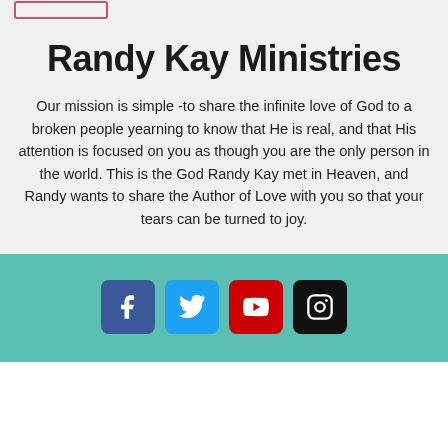Randy Kay Ministries
Our mission is simple -to share the infinite love of God to a broken people yearning to know that He is real, and that His attention is focused on you as though you are the only person in the world. This is the God Randy Kay met in Heaven, and Randy wants to share the Author of Love with you so that your tears can be turned to joy.
[Figure (infographic): Footer bar with social media icon buttons: Facebook (blue), Twitter (light blue), YouTube (red), Instagram (black), on a teal background.]